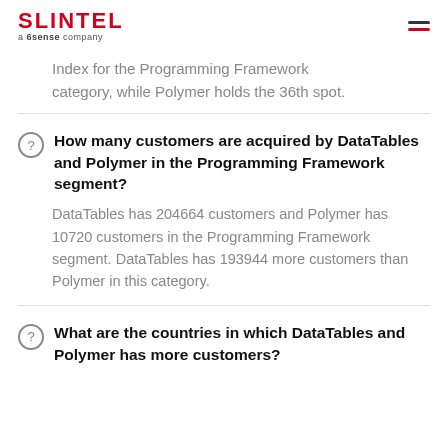SLINTEL a 6sense company
Index for the Programming Framework category, while Polymer holds the 36th spot.
How many customers are acquired by DataTables and Polymer in the Programming Framework segment?
DataTables has 204664 customers and Polymer has 10720 customers in the Programming Framework segment. DataTables has 193944 more customers than Polymer in this category.
What are the countries in which DataTables and Polymer has more customers?